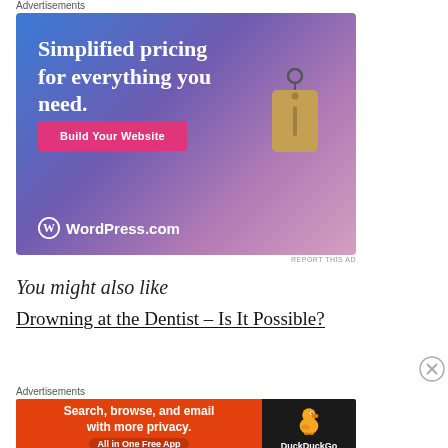Advertisements
[Figure (illustration): WordPress.com advertisement with gradient blue-purple background, large white text 'Simplified pricing for everything you need.', pink 'Build Your Website' button, price tag graphic, and WordPress.com logo]
REPORT THIS AD
You might also like
Drowning at the Dentist – Is It Possible?
Advertisements
[Figure (illustration): DuckDuckGo advertisement: orange left panel with 'Search, browse, and email with more privacy. All in One Free App' and dark right panel with DuckDuckGo duck logo and name]
REPORT THIS AD